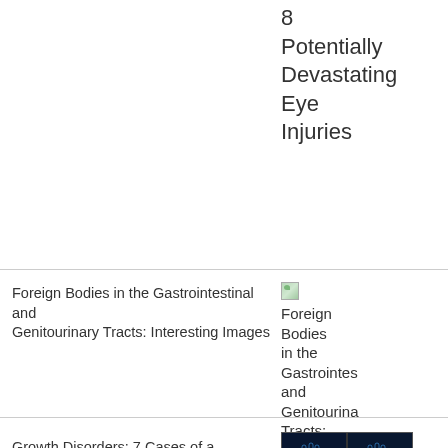8 Potentially Devastating Eye Injuries
Foreign Bodies in the Gastrointestinal and Genitourinary Tracts: Interesting Images
[Figure (photo): Small thumbnail image placeholder for Foreign Bodies in the Gastrointestinal and Genitourinary Tracts article]
Foreign Bodies in the Gastrointes and Genitourina Tracts: Interesting Images
Growth Disorders: 7 Cases of a Developing Problem
[Figure (photo): X-ray image of two hands showing bone structure for Growth Disorders article]